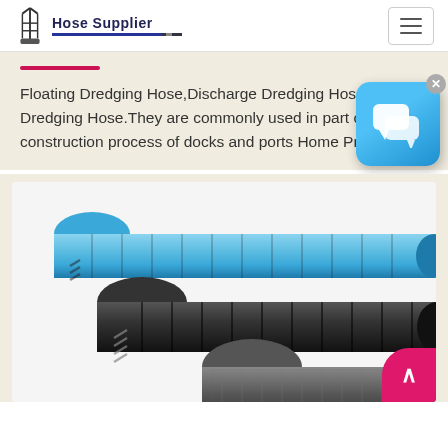Hose Supplier
Floating Dredging Hose,Discharge Dredging Hose,Suction Dredging Hose.They are commonly used in part of the construction process of docks and ports Home Produ
[Figure (photo): Three industrial dredging hoses: a blue corrugated hose (top left), a dark grey/black corrugated hose (center), and a dark grey textured hose (right)]